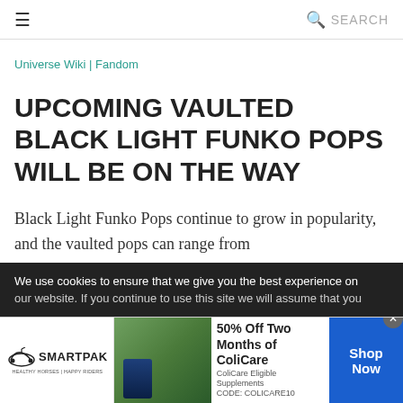≡  SEARCH
Universe Wiki | Fandom
UPCOMING VAULTED BLACK LIGHT FUNKO POPS WILL BE ON THE WAY
Black Light Funko Pops continue to grow in popularity, and the vaulted pops can range from
We use cookies to ensure that we give you the best experience on our website. If you continue to use this site we will assume that you
[Figure (advertisement): SmartPak advertisement: 50% Off Two Months of ColiCare, ColiCare Eligible Supplements, CODE: COLICARE10, with Shop Now CTA button]